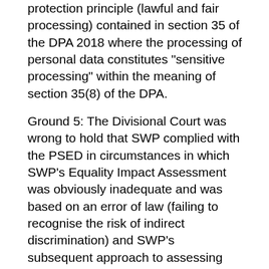protection principle (lawful and fair processing) contained in section 35 of the DPA 2018 where the processing of personal data constitutes "sensitive processing" within the meaning of section 35(8) of the DPA.
Ground 5: The Divisional Court was wrong to hold that SWP complied with the PSED in circumstances in which SWP's Equality Impact Assessment was obviously inadequate and was based on an error of law (failing to recognise the risk of indirect discrimination) and SWP's subsequent approach to assessing possible indirect discrimination arising from the use of AFR is flawed. It is argued that the Divisional Court failed in its reasoning to appreciate that the PSED is a continuing duty.
The appeal was allowed on Grounds 1, 3 and 5. But grounds 2 and 4 were rejected.
On Ground 1, The court said "too much discretion is currently left to individual police officers. It is not clear who can be placed on the watchlist nor is it clear that